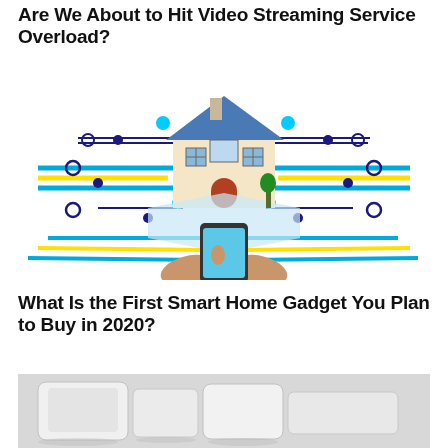Are We About to Hit Video Streaming Service Overload?
[Figure (illustration): Smart home illustration: a house surrounded by digital circuit board lines and nodes, with two hands holding a smartphone in the foreground]
What Is the First Smart Home Gadget You Plan to Buy in 2020?
[Figure (photo): Close-up photo of white smart home devices (tablets/smart speakers) on a light surface]